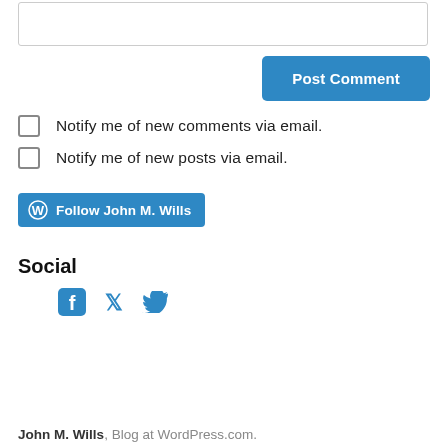[Figure (screenshot): Text area input box (partial, top of page)]
[Figure (screenshot): Post Comment button (blue, bold)]
Notify me of new comments via email.
Notify me of new posts via email.
[Figure (screenshot): Follow John M. Wills button (blue, WordPress logo)]
Social
[Figure (screenshot): Social icons: Facebook and Twitter]
John M. Wills, Blog at WordPress.com.